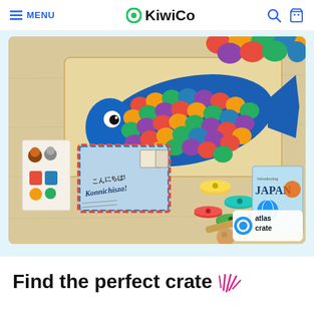MENU | KiwiCo
[Figure (photo): KiwiCo Atlas Crate product photo showing a colorful koi fish kite craft on a wooden board, with wooden bead toys, sticker sheets, a Japanese-themed airmail envelope reading 'Konnichisza!', and an 'Introducing JAPAN' booklet with atlas crate logo]
Find the perfect crate